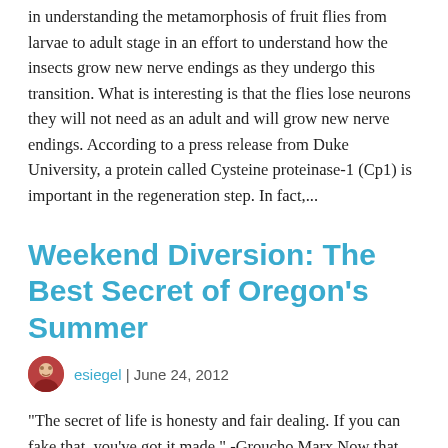in understanding the metamorphosis of fruit flies from larvae to adult stage in an effort to understand how the insects grow new nerve endings as they undergo this transition. What is interesting is that the flies lose neurons they will not need as an adult and will grow new nerve endings. According to a press release from Duke University, a protein called Cysteine proteinase-1 (Cp1) is important in the regeneration step. In fact,...
Weekend Diversion: The Best Secret of Oregon's Summer
esiegel | June 24, 2012
"The secret of life is honesty and fair dealing. If you can fake that, you've got it made." -Groucho Marx Now that the solstice is behind us and summer is officially here (for most of us), it's time to start enjoying the greatest fruits of the season. With the technical difficulties of the great scienceblogs migration (hopefully) behind us, I think I've discovered how to successfully bring a weekly song back to my weekend posts, too! Have a listen to Aimee Mann as she sings one of my favorites of hers, Little Bombs. Out where I live, in Oregon, now is the season